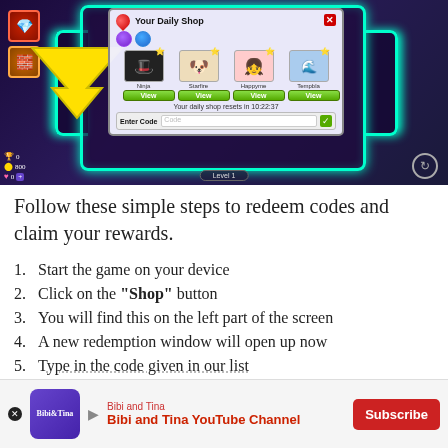[Figure (screenshot): Game screenshot showing 'Your Daily Shop' redemption panel with items (Ninja, Starfire, Happyme, Tempbla), View buttons, daily shop reset timer (10:22:37), Enter Code field, neon robot character in background, yellow arrow pointing to shop icon on left side.]
Follow these simple steps to redeem codes and claim your rewards.
1. Start the game on your device
2. Click on the "Shop" button
3. You will find this on the left part of the screen
4. A new redemption window will open up now
5. Type in the code given in our list
6. C...
[Figure (screenshot): Advertisement banner for 'Bibi and Tina YouTube Channel' with Subscribe button, showing channel logo and branding in red/purple colors.]